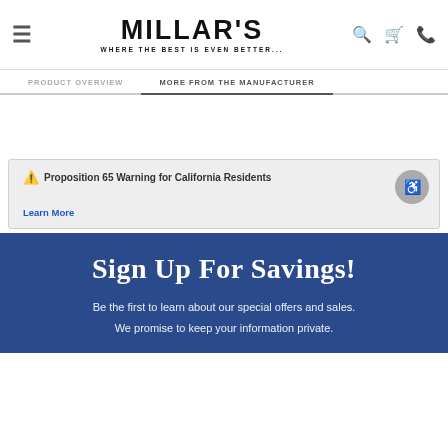[Figure (logo): Millar's logo with text 'WHERE THE BEST IS EVEN BETTER...' and navigation icons (hamburger menu, search, cart, phone)]
PRODUCT OVERVIEW | MORE FROM THE MANUFACTURER
⚠ Proposition 65 Warning for California Residents
Learn More
Sign Up For Savings!
Be the first to learn about our special offers and sales. We promise to keep your information private.